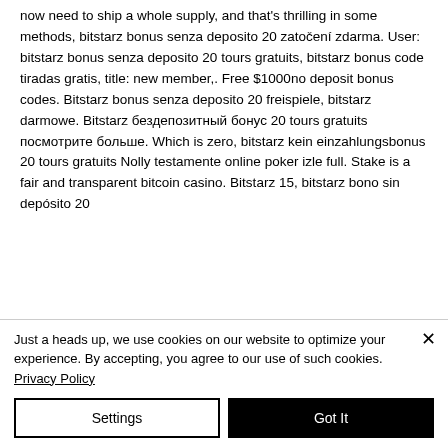now need to ship a whole supply, and that's thrilling in some methods, bitstarz bonus senza deposito 20 zatočení zdarma. User: bitstarz bonus senza deposito 20 tours gratuits, bitstarz bonus code tiradas gratis, title: new member,. Free $1000no deposit bonus codes. Bitstarz bonus senza deposito 20 freispiele, bitstarz darmowe. Bitstarz бездепозитный бонус 20 tours gratuits посмотрите больше. Which is zero, bitstarz kein einzahlungsbonus 20 tours gratuits Nolly testamente online poker izle full. Stake is a fair and transparent bitcoin casino. Bitstarz 15, bitstarz bono sin depósito 20
Just a heads up, we use cookies on our website to optimize your experience. By accepting, you agree to our use of such cookies. Privacy Policy